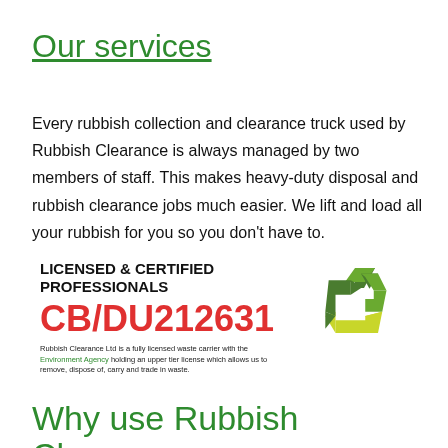Our services
Every rubbish collection and clearance truck used by Rubbish Clearance is always managed by two members of staff. This makes heavy-duty disposal and rubbish clearance jobs much easier. We lift and load all your rubbish for you so you don't have to.
[Figure (infographic): Licensed & Certified Professionals badge showing license number CB/DU212631 in red, with a recycling symbol (green arrows) on the right, and fine print stating Rubbish Clearance Ltd is a fully licensed waste carrier with the Environment Agency holding an upper tier license which allows us to remove, dispose of, carry and trade in waste.]
Why use Rubbish Clearance